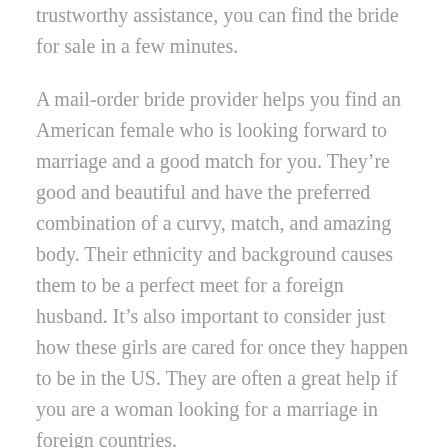trustworthy assistance, you can find the bride for sale in a few minutes.
A mail-order bride provider helps you find an American female who is looking forward to marriage and a good match for you. They're good and beautiful and have the preferred combination of a curvy, match, and amazing body. Their ethnicity and background causes them to be a perfect meet for a foreign husband. It's also important to consider just how these girls are cared for once they happen to be in the US. They are often a great help if you are a woman looking for a marriage in foreign countries.
Most birdes-to-be for sale happen to be from Afghanistan. In these countries, brides are mostly taken from the